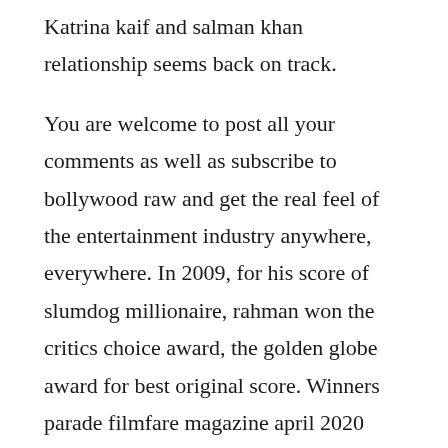Katrina kaif and salman khan relationship seems back on track.
You are welcome to post all your comments as well as subscribe to bollywood raw and get the real feel of the entertainment industry anywhere, everywhere. In 2009, for his score of slumdog millionaire, rahman won the critics choice award, the golden globe award for best original score. Winners parade filmfare magazine april 2020 worldwide media. Download and manage torrent files with an efficient, lightweight, and